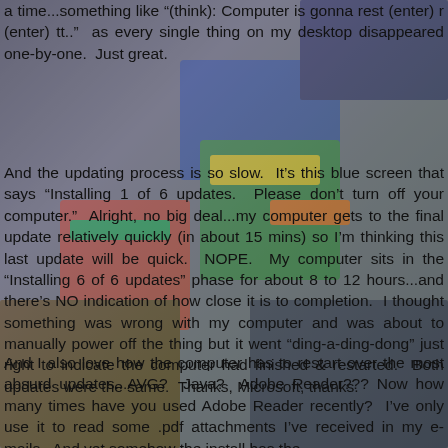a time...something like "(think): Computer is gonna rest (enter) r (enter) tt.." as every single thing on my desktop disappeared one-by-one.  Just great.
[Figure (photo): Background photo of colorful toy/game packaging boxes stacked together, showing partial text logos like 'SCORPION', 'PARTY', 'PANDORA', 'PHANTOM', 'DORSA' on brightly colored packaging]
And the updating process is so slow.  It's this blue screen that says "Installing 1 of 6 updates.  Please don't turn off your computer."  Alright, no big deal...my computer gets to the final update relatively quickly (in about 15 mins) so I'm thinking this last update will be quick.  NOPE.  My computer sits in the "Installing 6 of 6 updates" phase for about 8 to 12 hours...and there's NO indication of how close it is to completion.  I thought something was wrong with my computer and was about to manually power off the thing but it went "ding-a-ding-dong" just right to indicate the computer had finished & restarted.  Both updates were the same.  Thanks, Microsoft, thanks.
And I also love how the computer has to restart over the most absurd updates...AVG?  Java?  Adobe Reader??? Now how many times have you used Adobe Reader recently?  I've only use it to read some .pdf attachments I've received in my e-mails.  And yet somehow the install has the